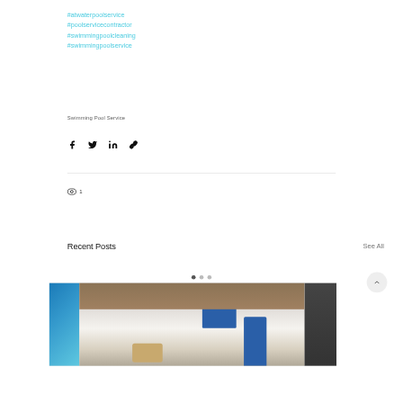#atwaterpoolservice
#poolservicecontractor
#swimmingpoolcleaning
#swimmingpoolservice
Swimming Pool Service
[Figure (infographic): Social share icons: Facebook, Twitter, LinkedIn, Link]
1 view
Recent Posts
See All
[Figure (photo): Blue and white Mediterranean-style outdoor patio with blue shutters and door, rattan furniture, and a palm tree]